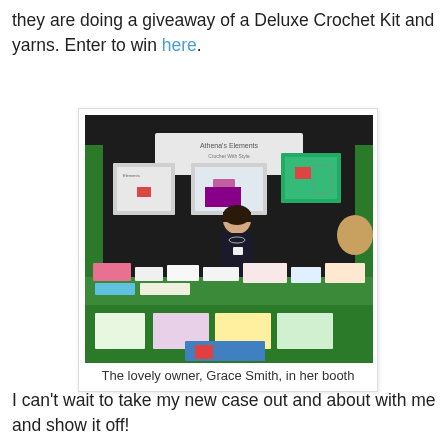they are doing a giveaway of a Deluxe Crochet Kit and yarns. Enter to win here.
[Figure (photo): A woman (Grace Smith, the owner) standing behind a vendor booth table displaying colorful craft products, with banners and signs on a dark background backdrop. The table has a green tablecloth and various colorful items on display.]
The lovely owner, Grace Smith, in her booth
I can't wait to take my new case out and about with me and show it off!